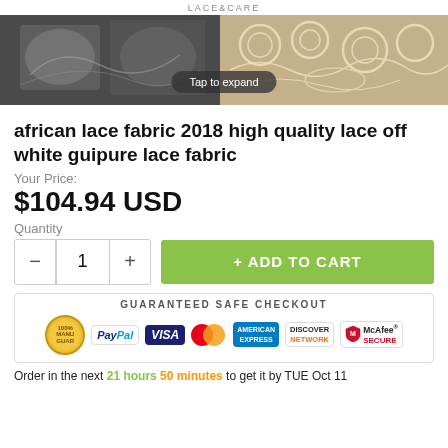LACE & CARE
[Figure (photo): Two product images of lace fabric side by side: left is black and white, right shows cream/beige guipure lace pattern. Overlay button reads 'Tap to expand'.]
african lace fabric 2018 high quality lace off white guipure lace fabric
Your Price:
$104.94 USD
Quantity
+ ADD TO CART
GUARANTEED SAFE CHECKOUT
Order in the next 21 hours 50 minutes to get it by TUE Oct 11